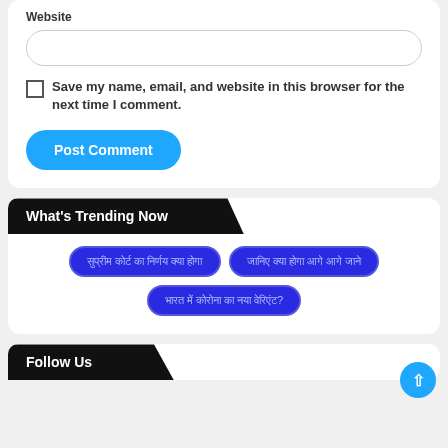Website
Save my name, email, and website in this browser for the next time I comment.
Post Comment
What's Trending Now
[Hindi tag 1]
[Hindi tag 2]
[Hindi tag 3]
Follow Us